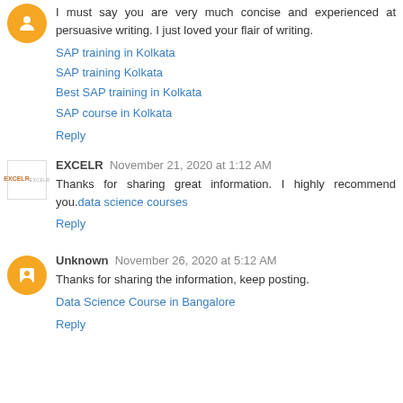I must say you are very much concise and experienced at persuasive writing. I just loved your flair of writing.
SAP training in Kolkata
SAP training Kolkata
Best SAP training in Kolkata
SAP course in Kolkata
Reply
EXCELR  November 21, 2020 at 1:12 AM
Thanks for sharing great information. I highly recommend you.data science courses
Reply
Unknown  November 26, 2020 at 5:12 AM
Thanks for sharing the information, keep posting.
Data Science Course in Bangalore
Reply